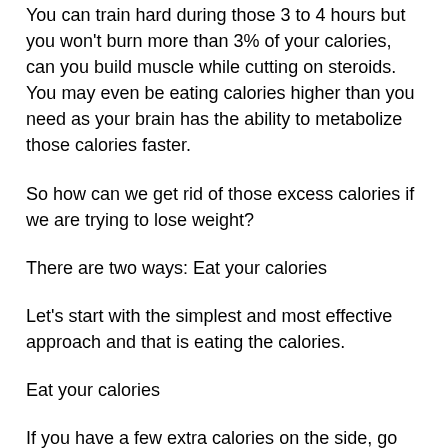You can train hard during those 3 to 4 hours but you won't burn more than 3% of your calories, can you build muscle while cutting on steroids. You may even be eating calories higher than you need as your brain has the ability to metabolize those calories faster.
So how can we get rid of those excess calories if we are trying to lose weight?
There are two ways: Eat your calories
Let's start with the simplest and most effective approach and that is eating the calories.
Eat your calories
If you have a few extra calories on the side, go ahead and eat them, that is normal, can you lose weight with collagen peptides. You will make sure that your body realizes this